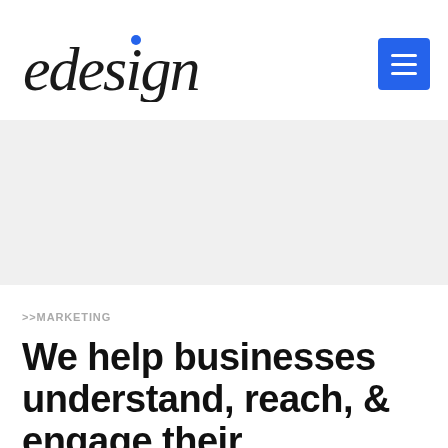[Figure (logo): edesign cursive logo with a blue dot over the letter i]
[Figure (other): Blue hamburger menu button with three white horizontal lines]
[Figure (photo): Light grey hero image area background]
>>MARKETING
We help businesses understand, reach, & engage their audiences